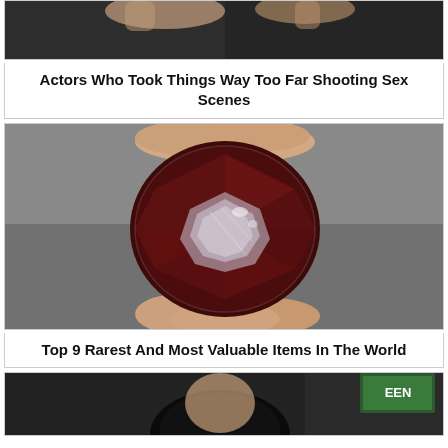[Figure (photo): Partial photo showing hands/dark background, top of clickbait card about actors]
Actors Who Took Things Way Too Far Shooting Sex Scenes
[Figure (photo): Close-up photo of a dark red faceted gemstone being held between two fingers]
Top 9 Rarest And Most Valuable Items In The World
[Figure (photo): Partial photo showing a woman with dark hair at what appears to be a press event]